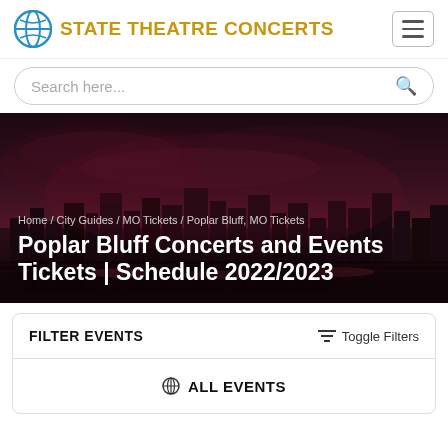STATE THEATRE CONCERTS
Search here...
[Figure (screenshot): City skyline at night hero banner with dark reddish-purple tones]
Home / City Guides / MO Tickets / Poplar Bluff, MO Tickets
Poplar Bluff Concerts and Events Tickets | Schedule 2022/2023
FILTER EVENTS
Toggle Filters
ALL EVENTS